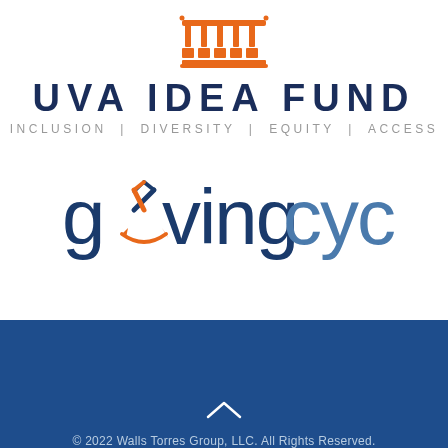[Figure (logo): UVA IDEA Fund logo: orange architectural arch/columns icon above the text UVA IDEA FUND and INCLUSION | DIVERSITY | EQUITY | ACCESS]
[Figure (logo): GivingCycle logo: dark blue text 'givingcycle' where the letter i is replaced by an orange Amazon-style arrow/smile icon with two hands shaking]
© 2022 Walls Torres Group, LLC. All Rights Reserved.